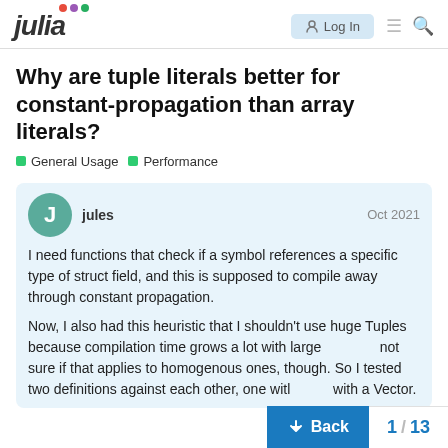julia | Log In
Why are tuple literals better for constant-propagation than array literals?
General Usage  Performance
jules  Oct 2021
I need functions that check if a symbol references a specific type of struct field, and this is supposed to compile away through constant propagation.

Now, I also had this heuristic that I shouldn't use huge Tuples because compilation time grows a lot with large not sure if that applies to homogenous ones, though. So I tested two definitions against each other, one witl with a Vector.